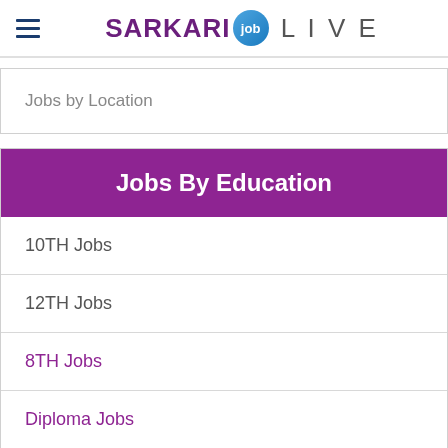SARKARI job LIVE
Jobs by Location
Jobs By Education
10TH Jobs
12TH Jobs
8TH Jobs
Diploma Jobs